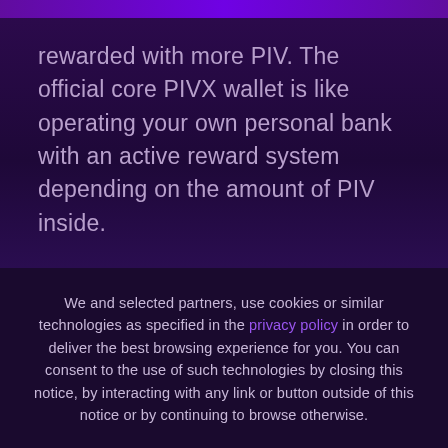rewarded with more PIV. The official core PIVX wallet is like operating your own personal bank with an active reward system depending on the amount of PIV inside.
We and selected partners, use cookies or similar technologies as specified in the privacy policy in order to deliver the best browsing experience for you. You can consent to the use of such technologies by closing this notice, by interacting with any link or button outside of this notice or by continuing to browse otherwise.
ACCEPT COOKIES